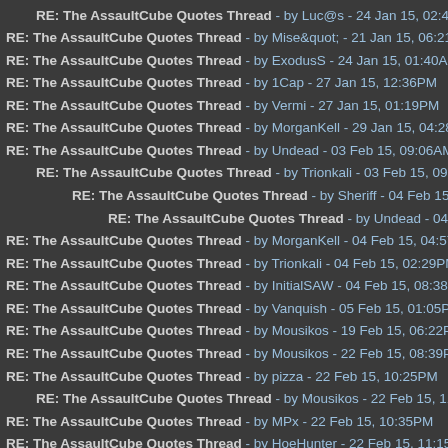RE: The AssaultCube Quotes Thread - by Luc@s - 24 Jan 15, 02:49AM
RE: The AssaultCube Quotes Thread - by Mise&quot; - 21 Jan 15, 06:21PM
RE: The AssaultCube Quotes Thread - by ExodusS - 24 Jan 15, 01:40AM
RE: The AssaultCube Quotes Thread - by 1Cap - 27 Jan 15, 12:36PM
RE: The AssaultCube Quotes Thread - by Vermi - 27 Jan 15, 01:19PM
RE: The AssaultCube Quotes Thread - by MorganKell - 29 Jan 15, 04:28AM
RE: The AssaultCube Quotes Thread - by Undead - 03 Feb 15, 09:06AM
RE: The AssaultCube Quotes Thread - by Trionkali - 03 Feb 15, 09:51PM
RE: The AssaultCube Quotes Thread - by Sheriff - 04 Feb 15, 04:36AM
RE: The AssaultCube Quotes Thread - by Undead - 04 Feb 15, 11:16A
RE: The AssaultCube Quotes Thread - by MorganKell - 04 Feb 15, 04:57AM
RE: The AssaultCube Quotes Thread - by Trionkali - 04 Feb 15, 02:29PM
RE: The AssaultCube Quotes Thread - by InitialSAW - 04 Feb 15, 08:38PM
RE: The AssaultCube Quotes Thread - by Vanquish - 05 Feb 15, 01:05PM
RE: The AssaultCube Quotes Thread - by Mousikos - 19 Feb 15, 06:22PM
RE: The AssaultCube Quotes Thread - by Mousikos - 22 Feb 15, 08:39PM
RE: The AssaultCube Quotes Thread - by pizza - 22 Feb 15, 10:25PM
RE: The AssaultCube Quotes Thread - by Mousikos - 22 Feb 15, 11:32PM
RE: The AssaultCube Quotes Thread - by MPx - 22 Feb 15, 10:35PM
RE: The AssaultCube Quotes Thread - by HoeHunter - 22 Feb 15, 11:15PM
RE: The AssaultCube Quotes Thread - by HoeHunter - 23 Feb 15, 02:57AM
RE: The AssaultCube Quotes Thread - by +f0r3v3r+ - 24 Feb 15, 02:43AM
RE: The AssaultCube Quotes Thread - by Vanquish - 27 Feb 15, 11:19AM
RE: The AssaultCube Quotes Thread - by Vanquish - 01 Mar 15, 12:17PM
RE: The AssaultCube Quotes Thread - by 1Cap - 01 Mar 15, 01:00PM